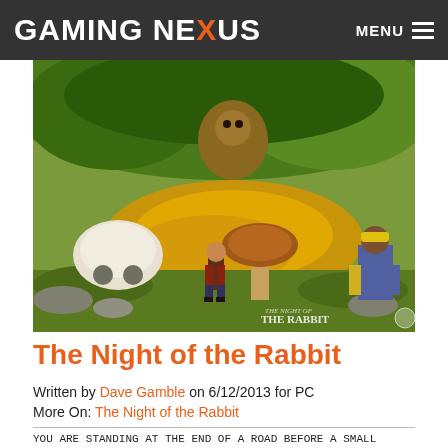GAMING NEXUS   MENU
[Figure (screenshot): Illustrated scene from The Night of the Rabbit video game showing a fantasy forest with animated characters including a young boy, a large mushroom creature, a worker in a yellow hard hat, and various other characters in a lush colorful environment. Watermark reads: The Night of The Rabbit]
The Night of the Rabbit
Written by Dave Gamble on 6/12/2013 for PC
More On: The Night of the Rabbit
YOU ARE STANDING AT THE END OF A ROAD BEFORE A SMALL BRICK BUILDING.